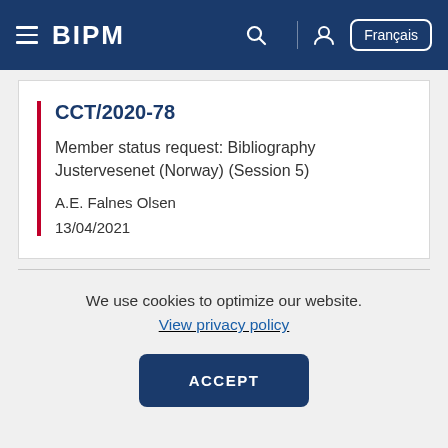BIPM | Français
CCT/2020-78
Member status request: Bibliography Justervesenet (Norway) (Session 5)
A.E. Falnes Olsen
13/04/2021
We use cookies to optimize our website.
View privacy policy
ACCEPT